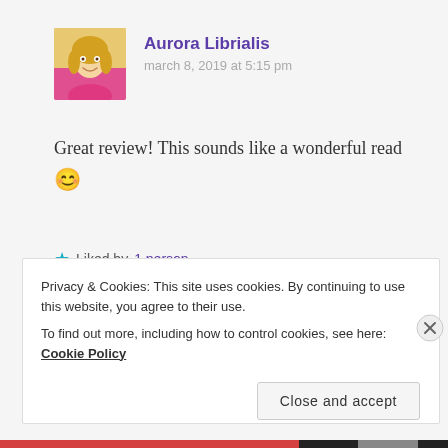[Figure (photo): Profile photo of Aurora Librialis, a blonde woman wearing a pink top]
Aurora Librialis
march 8, 2019 at 5:15 pm
Great review! This sounds like a wonderful read 😊
★ Liked by 1 person
Reply
Privacy & Cookies: This site uses cookies. By continuing to use this website, you agree to their use.
To find out more, including how to control cookies, see here: Cookie Policy
Close and accept